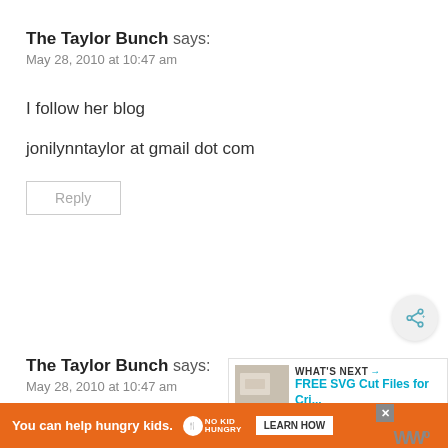The Taylor Bunch says:
May 28, 2010 at 10:47 am
I follow her blog

jonilynntaylor at gmail dot com
Reply
[Figure (other): Share button icon — circular grey button with share/add icon]
The Taylor Bunch says:
May 28, 2010 at 10:47 am
[Figure (other): What's Next panel showing FREE SVG Cut Files for Cri... with a product thumbnail]
[Figure (other): Orange advertisement banner: You can help hungry kids. NO KID HUNGRY LEARN HOW with close button]
fa
WWº